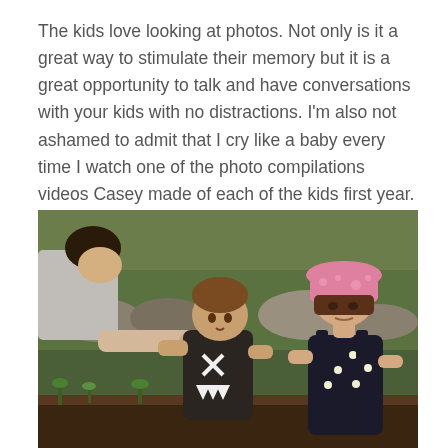The kids love looking at photos. Not only is it a great way to stimulate their memory but it is a great opportunity to talk and have conversations with your kids with no distractions. I'm also not ashamed to admit that I cry like a baby every time I watch one of the photo compilations videos Casey made of each of the kids first year. Just take the damn photos.
[Figure (photo): A man leaning down toward two young children outdoors in a garden setting. The child in the middle is a toddler in a dark monster-print t-shirt, and the child on the right is an older girl wearing a pink bucket hat and a dark polka-dot dress. The man appears to be handing something (a red tool) to the toddler.]